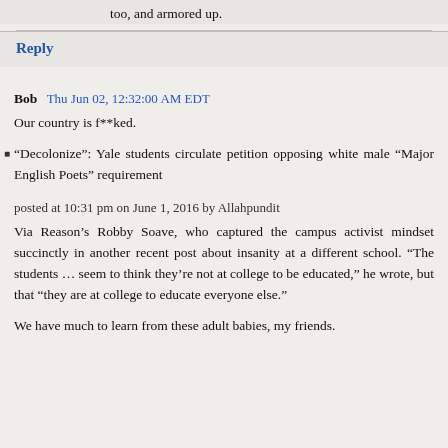too, and armored up.
Reply
Bob  Thu Jun 02, 12:32:00 AM EDT
Our country is f**ked.
“Decolonize”: Yale students circulate petition opposing white male “Major English Poets” requirement
posted at 10:31 pm on June 1, 2016 by Allahpundit
Via Reason’s Robby Soave, who captured the campus activist mindset succinctly in another recent post about insanity at a different school. “The students … seem to think they’re not at college to be educated,” he wrote, but that “they are at college to educate everyone else.”
We have much to learn from these adult babies, my friends.